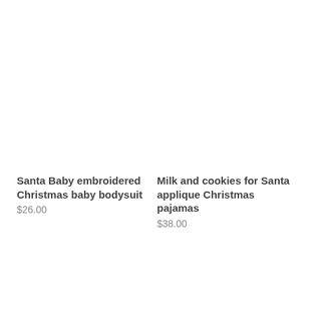Santa Baby embroidered Christmas baby bodysuit
$26.00
Milk and cookies for Santa applique Christmas pajamas
$38.00